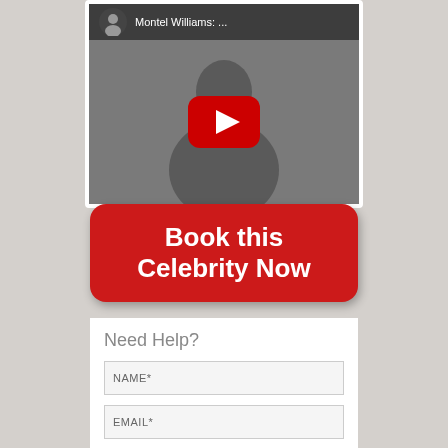[Figure (screenshot): YouTube video thumbnail showing a person (Montel Williams) with title 'Montel Williams: ...' and a red play button overlay]
Book this Celebrity Now
Need Help?
NAME*
EMAIL*
PHONE*